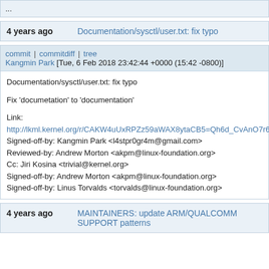...
4 years ago    Documentation/sysctl/user.txt: fix typo
commit | commitdiff | tree
Kangmin Park [Tue, 6 Feb 2018 23:42:44 +0000 (15:42 -0800)]
Documentation/sysctl/user.txt: fix typo

Fix 'documetation' to 'documentation'

Link:
http://lkml.kernel.org/r/CAKW4uUxRPZz59aWAX8ytaCB5=Qh6d_CvAnO7r...
6NRAnQJbDA@mail.gmail.com
Signed-off-by: Kangmin Park <l4stpr0gr4m@gmail.com>
Reviewed-by: Andrew Morton <akpm@linux-foundation.org>
Cc: Jiri Kosina <trivial@kernel.org>
Signed-off-by: Andrew Morton <akpm@linux-foundation.org>
Signed-off-by: Linus Torvalds <torvalds@linux-foundation.org>
4 years ago    MAINTAINERS: update ARM/QUALCOMM SUPPORT patterns